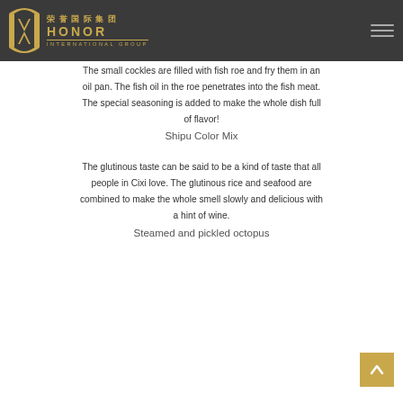Fried Coccinella with Seed
荣誉国际集团 HONOR INTERNATIONAL GROUP
The small cockles are filled with fish roe and fry them in an oil pan. The fish oil in the roe penetrates into the fish meat. The special seasoning is added to make the whole dish full of flavor!
Shipu Color Mix
The glutinous taste can be said to be a kind of taste that all people in Cixi love. The glutinous rice and seafood are combined to make the whole smell slowly and delicious with a hint of wine.
Steamed and pickled octopus